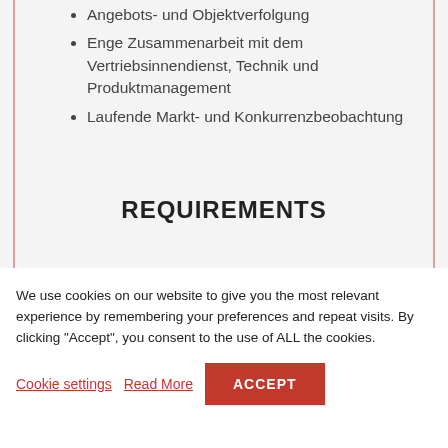Angebots- und Objektverfolgung
Enge Zusammenarbeit mit dem Vertriebsinnendienst, Technik und Produktmanagement
Laufende Markt- und Konkurrenzbeobachtung
REQUIREMENTS
We use cookies on our website to give you the most relevant experience by remembering your preferences and repeat visits. By clicking "Accept", you consent to the use of ALL the cookies.
Cookie settings   Read More   ACCEPT